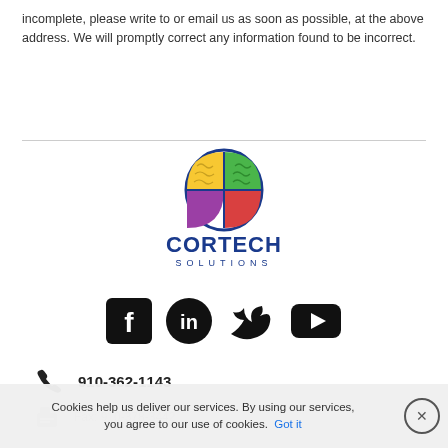incomplete, please write to or email us as soon as possible, at the above address. We will promptly correct any information found to be incorrect.
[Figure (logo): Cortech Solutions logo — a colorful brain divided into four quadrants (yellow, green, purple, red) above bold blue text reading CORTECH SOLUTIONS]
[Figure (infographic): Four social media icons in a row: Facebook, LinkedIn, Twitter, YouTube]
910-362-1143
Fax: 910-378-3442
Cookies help us deliver our services. By using our services, you agree to our use of cookies. Got it